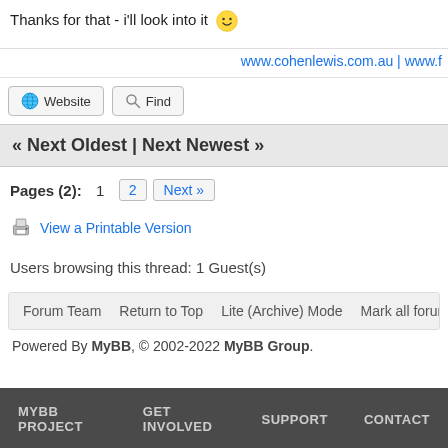Thanks for that - i'll look into it 🙂
www.cohenlewis.com.au | www.f…
🌐 Website   🔍 Find
« Next Oldest | Next Newest »
Pages (2): 1  2  Next »
View a Printable Version
Users browsing this thread: 1 Guest(s)
Forum Team   Return to Top   Lite (Archive) Mode   Mark all forums rea…
Powered By MyBB, © 2002-2022 MyBB Group.
MYBB PROJECT   GET INVOLVED   SUPPORT   CONTACT